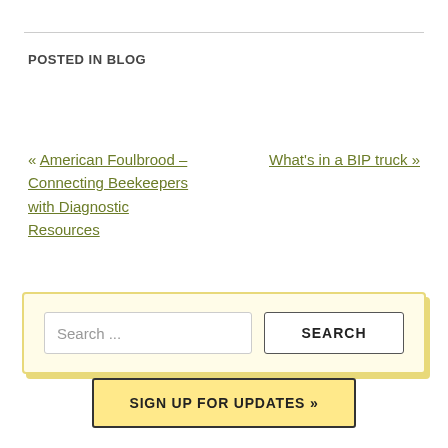POSTED IN BLOG
« American Foulbrood – Connecting Beekeepers with Diagnostic Resources
What's in a BIP truck »
Search ...
SEARCH
SIGN UP FOR UPDATES »